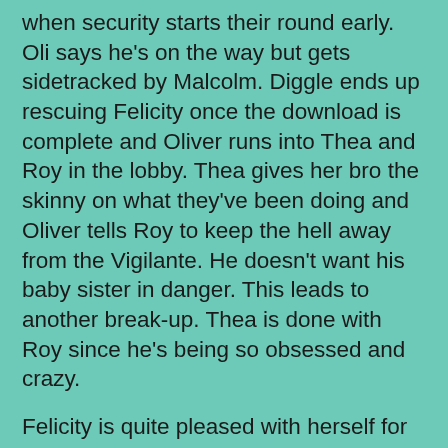when security starts their round early. Oli says he's on the way but gets sidetracked by Malcolm. Diggle ends up rescuing Felicity once the download is complete and Oliver runs into Thea and Roy in the lobby. Thea gives her bro the skinny on what they've been doing and Oliver tells Roy to keep the hell away from the Vigilante. He doesn't want his baby sister in danger. This leads to another break-up. Thea is done with Roy since he's being so obsessed and crazy.
Felicity is quite pleased with herself for getting all the data and planting a Trojan so they can track Malcolm. Unfortunately, the SCPD's tech guru noticed her entry and exit during her first attempt and knows exactly who she is. And now Detective Lance is going to be looking for her. That is in no way good. And in the man cave, Oliver realizes that taking out the names on his father's list isn't helping. He needs to stop Malcolm from using the device and that will really help right his father's wrongs. But he has a stop to make first. He pays Laurel a visit. Confident that soon he'll be free of the hood, they hook up. I still say I'd prefer Oliver and Felicity together. The amount of inappropriate and awkward comments she's made lately, there's totally something between them.